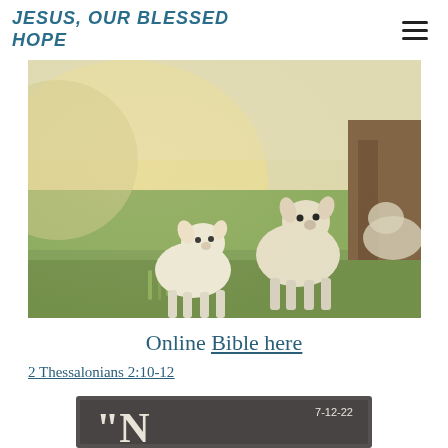JESUS, OUR BLESSED HOPE
[Figure (photo): Two young white lambs standing in a green pastoral field with a tree trunk on the right side and soft warm light in the background.]
Online Bible here
2 Thessalonians 2:10-12
[Figure (photo): Chalkboard-style image with the date 7-12-22 and large decorative quotation marks with partial text beginning with the letter N, resembling a sermon title slide.]